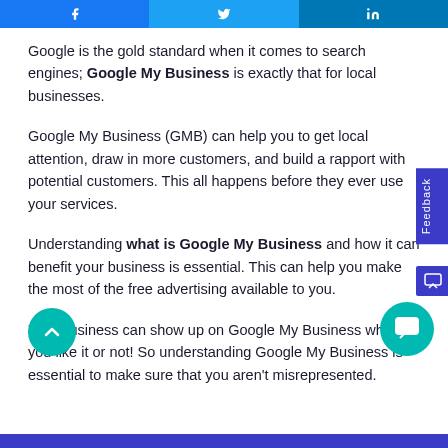[Figure (other): Social share buttons row: Facebook, Twitter, LinkedIn]
Google is the gold standard when it comes to search engines; Google My Business is exactly that for local businesses.
Google My Business (GMB) can help you to get local attention, draw in more customers, and build a rapport with potential customers. This all happens before they ever use your services.
Understanding what is Google My Business and how it can benefit your business is essential. This can help you make the most of the free advertising available to you.
Your business can show up on Google My Business whether you like it or not! So understanding Google My Business is essential to make sure that you aren't misrepresented.